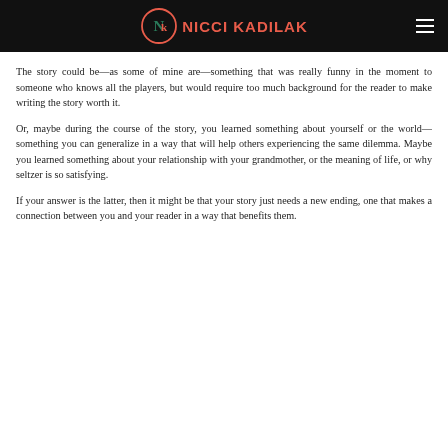NICCI KADILAK
The story could be—as some of mine are—something that was really funny in the moment to someone who knows all the players, but would require too much background for the reader to make writing the story worth it.
Or, maybe during the course of the story, you learned something about yourself or the world—something you can generalize in a way that will help others experiencing the same dilemma. Maybe you learned something about your relationship with your grandmother, or the meaning of life, or why seltzer is so satisfying.
If your answer is the latter, then it might be that your story just needs a new ending, one that makes a connection between you and your reader in a way that benefits them.